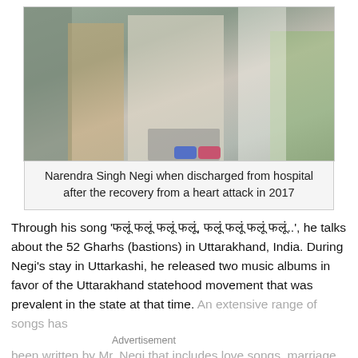[Figure (photo): Narendra Singh Negi seated in a wheelchair surrounded by people, being discharged from hospital after heart attack recovery in 2017]
Narendra Singh Negi when discharged from hospital after the recovery from a heart attack in 2017
Through his song 'फलूं फलूं फलूं फलूं, फलूं फलूं फलूं फलूं..', he talks about the 52 Gharhs (bastions) in Uttarakhand, India. During Negi’s stay in Uttarkashi, he released two music albums in favor of the Uttarakhand statehood movement that was prevalent in the state at that time. An extensive range of songs has been written by Mr. Negi that includes love songs, marriage songs, lullabies, and songs related to
Advertisement